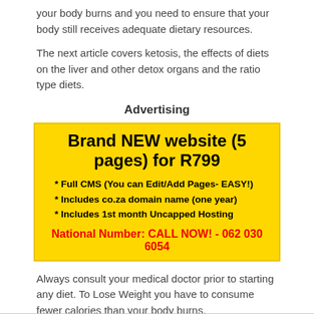your body burns and you need to ensure that your body still receives adequate dietary resources.
The next article covers ketosis, the effects of diets on the liver and other detox organs and the ratio type diets.
Advertising
[Figure (infographic): Yellow advertisement box: Brand NEW website (5 pages) for R799. Full CMS (You can Edit/Add Pages- EASY!), Includes co.za domain name (one year), Includes 1st month Uncapped Hosting. National Number: CALL NOW! - 062 030 6054]
Always consult your medical doctor prior to starting any diet. To Lose Weight you have to consume fewer calories than your body burns.